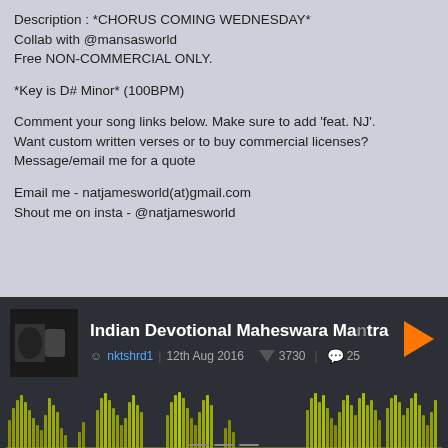Description : *CHORUS COMING WEDNESDAY*
Collab with @mansasworld
Free NON-COMMERCIAL ONLY.

*Key is D# Minor* (100BPM)

Comment your song links below. Make sure to add 'feat. NJ'. Want custom written verses or to buy commercial licenses? Message/email me for a quote

Email me - natjamesworld(at)gmail.com
Shout me on insta - @natjamesworld
[Figure (screenshot): SoundCloud player embed showing 'Indian Devotional Maheswara Mantra' by nktshrd1, posted 12th Aug 2016, with 3730 plays and 25 comments. Shows audio waveform in olive/yellow-green color.]
[Figure (screenshot): Advertisement banner for 'Back To School Essentials - Leesburg Premium Outlets' with logo and blue navigation arrow icon, on black background.]